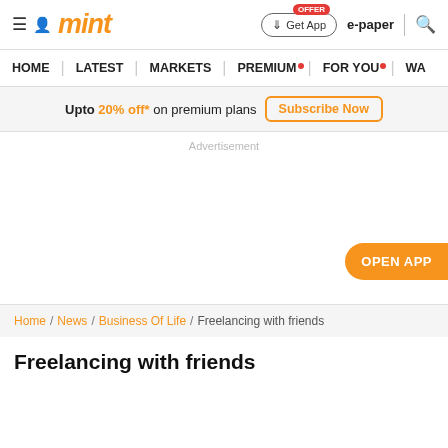mint | Get App | e-paper | search
HOME | LATEST | MARKETS | PREMIUM | FOR YOU | WA
Upto 20% off* on premium plans — Subscribe Now
Advertisement
OPEN APP
Home / News / Business Of Life / Freelancing with friends
Freelancing with friends